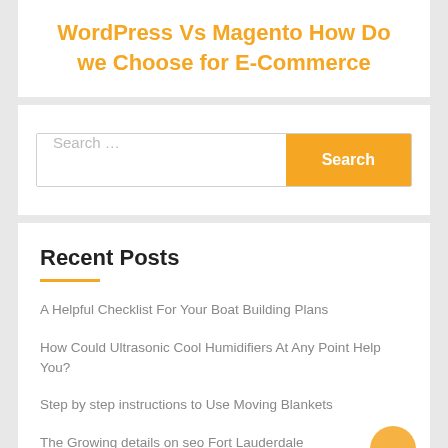WordPress Vs Magento How Do we Choose for E-Commerce
Search ...
Recent Posts
A Helpful Checklist For Your Boat Building Plans
How Could Ultrasonic Cool Humidifiers At Any Point Help You?
Step by step instructions to Use Moving Blankets
The Growing details on seo Fort Lauderdale